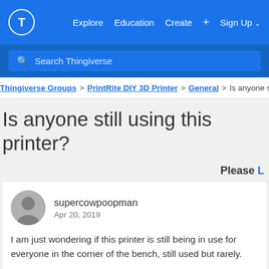T  Explore  Education  Create  +  Sign Up
Search Thingiverse
Thingiverse Groups > PrintRite DIY 3D Printer > General > Is anyone s
Is anyone still using this printer?
Please L
supercowpoopman
Apr 20, 2019
I am just wondering if this printer is still being in use for everyone in the corner of the bench, still used but rarely.